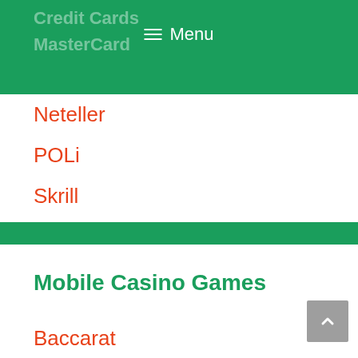Credit Cards MasterCard Menu
Neteller
POLi
Skrill
Paysafecard
Visa
Mobile Casino Games
Baccarat
Blackjack
Craps